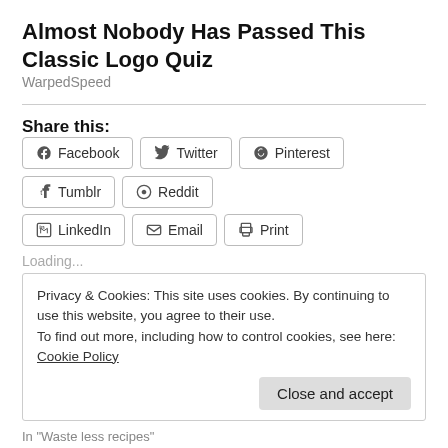Almost Nobody Has Passed This Classic Logo Quiz
WarpedSpeed
Share this:
Facebook
Twitter
Pinterest
Tumblr
Reddit
LinkedIn
Email
Print
Loading...
Privacy & Cookies: This site uses cookies. By continuing to use this website, you agree to their use.
To find out more, including how to control cookies, see here: Cookie Policy
In "Waste less recipes"